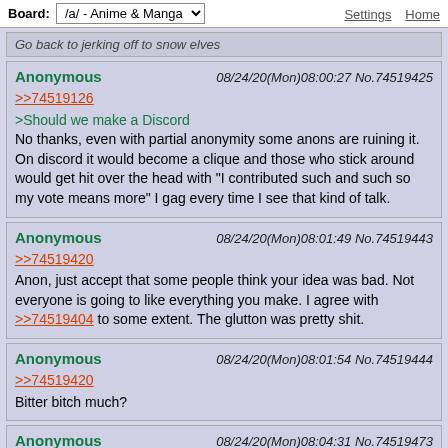Board: /a/ - Anime & Manga  Settings  Home
Go back to jerking off to snow elves
Anonymous  08/24/20(Mon)08:00:27 No.74519425
>>74519126
>Should we make a Discord
No thanks, even with partial anonymity some anons are ruining it. On discord it would become a clique and those who stick around would get hit over the head with "I contributed such and such so my vote means more" I gag every time I see that kind of talk.
Anonymous  08/24/20(Mon)08:01:49 No.74519443
>>74519420
Anon, just accept that some people think your idea was bad. Not everyone is going to like everything you make. I agree with
>>74519404
to some extent. The glutton was pretty shit.
Anonymous  08/24/20(Mon)08:01:54 No.74519444
>>74519420
Bitter bitch much?
Anonymous  08/24/20(Mon)08:04:31 No.74519473
>>74517675